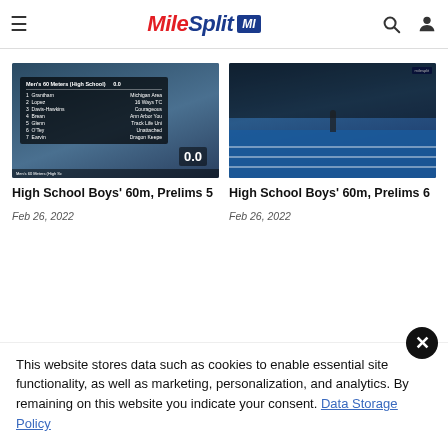MileSplit MI
[Figure (screenshot): Screenshot of indoor track race results overlay showing Men's 60 Meters High School rankings with athlete names and clubs]
High School Boys' 60m, Prelims 5
Feb 26, 2022
[Figure (photo): Indoor track meet photo showing athletes lined up on blue track lanes with crowd in background]
High School Boys' 60m, Prelims 6
Feb 26, 2022
This website stores data such as cookies to enable essential site functionality, as well as marketing, personalization, and analytics. By remaining on this website you indicate your consent. Data Storage Policy